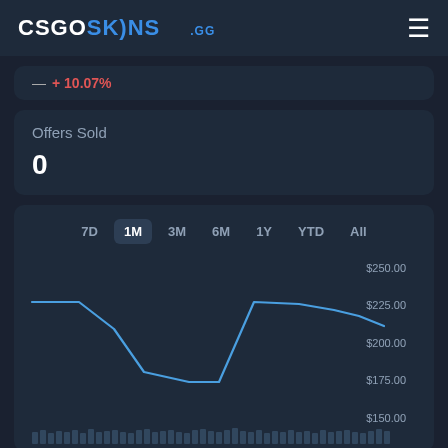CSGOSKINS .GG
+ 10.07%
Offers Sold
0
[Figure (line-chart): Line chart showing price over 1 month period. Price starts around $225, drops to around $175, then rises back to ~$225, then gradually declines to about $210. Y-axis labels: $250.00, $225.00, $200.00, $175.00, $150.00. Time period selector tabs: 7D, 1M (active), 3M, 6M, 1Y, YTD, All. Bar volume indicators visible at bottom.]